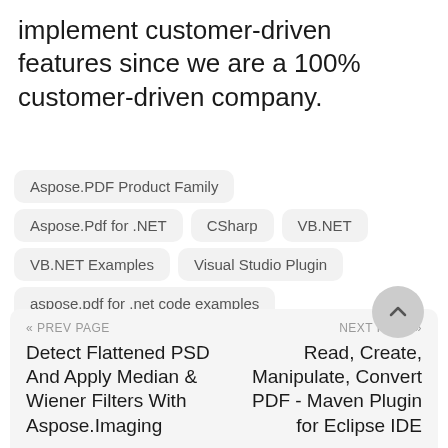implement customer-driven features since we are a 100% customer-driven company.
Aspose.PDF Product Family
Aspose.Pdf for .NET
CSharp
VB.NET
VB.NET Examples
Visual Studio Plugin
aspose.pdf for .net code examples
« PREV PAGE   Detect Flattened PSD And Apply Median &amp; Wiener Filters With Aspose.Imaging    NEXT PAGE »   Read, Create, Manipulate, Convert PDF - Maven Plugin for Eclipse IDE